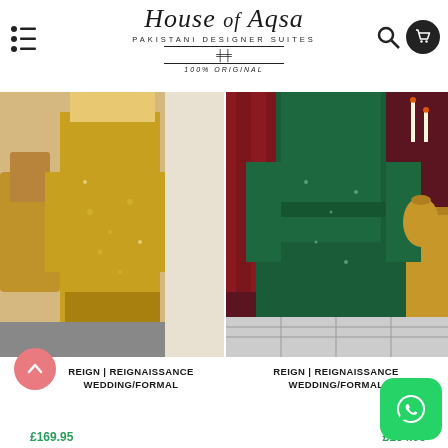House of Aqsa — Pakistani Designer Suites — 100% Original
[Figure (photo): Woman wearing yellow/gold embroidered Pakistani designer suit in ornate room setting]
[Figure (photo): Woman wearing dark green embroidered Pakistani designer suit in elegant room with red curtains]
REIGN | REIGNAISSANCE WEDDING/FORMAL
REIGN | REIGNAISSANCE WEDDING/FORMAL
£169.95
£184.95